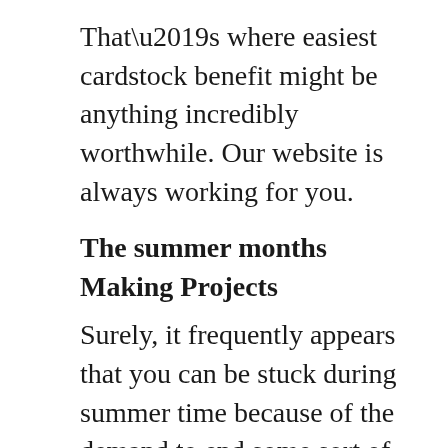That’s where easiest cardstock benefit might be anything incredibly worthwhile. Our website is always working for you.
The summer months Making Projects
Surely, it frequently appears that you can be stuck during summer time because of the demand to end some sort of a project which your summer put into practice involves. Of course, it will be an scholastic process that needs to be passed on in composing of course, if you experience difficulties with that, pieces of paper help out http://buy-essays-fast.net/academic-essay/ could be what you look for. It is actually rough for the greatest